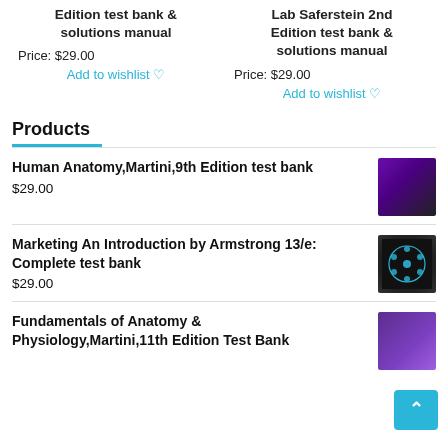Edition test bank & solutions manual
Price: $29.00
Add to wishlist ♡
Lab Saferstein 2nd Edition test bank & solutions manual
Price: $29.00
Add to wishlist ♡
Products
Human Anatomy,Martini,9th Edition test bank
$29.00
Marketing An Introduction by Armstrong 13/e: Complete test bank
$29.00
Fundamentals of Anatomy & Physiology,Martini,11th Edition Test Bank